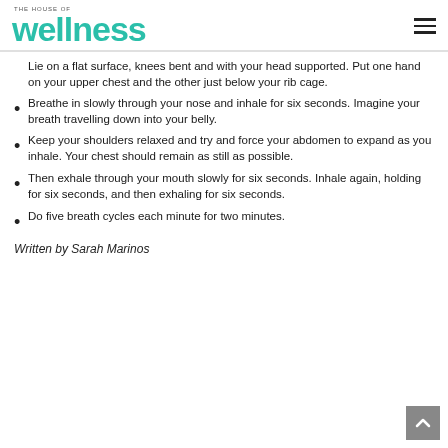THE HOUSE OF wellness
Lie on a flat surface, knees bent and with your head supported. Put one hand on your upper chest and the other just below your rib cage.
Breathe in slowly through your nose and inhale for six seconds. Imagine your breath travelling down into your belly.
Keep your shoulders relaxed and try and force your abdomen to expand as you inhale. Your chest should remain as still as possible.
Then exhale through your mouth slowly for six seconds. Inhale again, holding for six seconds, and then exhaling for six seconds.
Do five breath cycles each minute for two minutes.
Written by Sarah Marinos